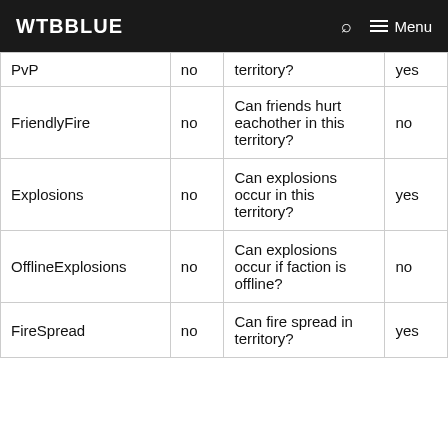WTBBLUE
| PvP | no | territory? | yes |
| FriendlyFire | no | Can friends hurt eachother in this territory? | no |
| Explosions | no | Can explosions occur in this territory? | yes |
| OfflineExplosions | no | Can explosions occur if faction is offline? | no |
| FireSpread | no | Can fire spread in territory? | yes |